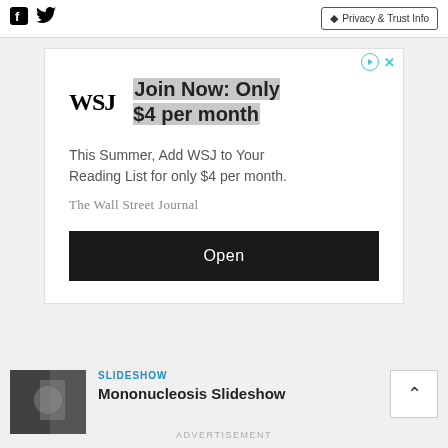Facebook icon, Twitter icon | Privacy & Trust Info
[Figure (screenshot): WSJ advertisement: Join Now: Only $4 per month. This Summer, Add WSJ to Your Reading List for only $4 per month. The Wall Street Journal. Open button.]
SLIDESHOW
Mononucleosis Slideshow
ADVERTISEMENT